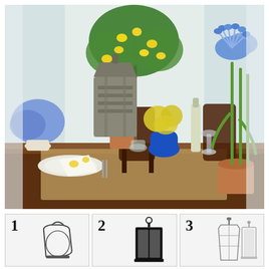[Figure (photo): A styled dining table centerpiece featuring a lemon tree, a gray wooden lantern, blue hydrangeas in a vase, yellow mimosa flowers in a blue vase, tall agapanthus in a terracotta pot, wine bottle and glasses, plates with lemon-print napkin, burlap table runner. Dark wood dining chairs and bright window in background.]
[Figure (photo): Numbered item 1: a small round glass hurricane lantern with a metal arch handle, white/light gray background.]
[Figure (photo): Numbered item 2: a tall rectangular black metal lantern, white background.]
[Figure (photo): Numbered item 3: two lanterns side by side — a tall clear glass geometric lantern and a smaller white lantern, white background.]